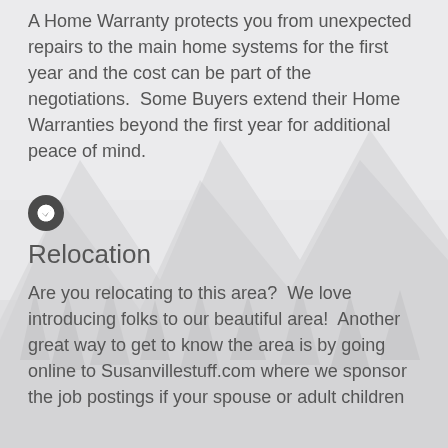A Home Warranty protects you from unexpected repairs to the main home systems for the first year and the cost can be part of the negotiations.  Some Buyers extend their Home Warranties beyond the first year for additional peace of mind.
[Figure (illustration): Faded mountain/forest background image in light grey tones]
Relocation
Are you relocating to this area?  We love introducing folks to our beautiful area!  Another great way to get to know the area is by going online to Susanvillestuff.com where we sponsor the job postings if your spouse or adult children